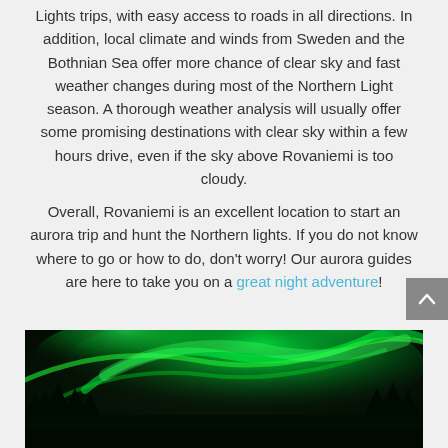Lights trips, with easy access to roads in all directions. In addition, local climate and winds from Sweden and the Bothnian Sea offer more chance of clear sky and fast weather changes during most of the Northern Light season. A thorough weather analysis will usually offer some promising destinations with clear sky within a few hours drive, even if the sky above Rovaniemi is too cloudy.
Overall, Rovaniemi is an excellent location to start an aurora trip and hunt the Northern lights. If you do not know where to go or how to do, don't worry! Our aurora guides are here to take you on a great night adventure!
[Figure (photo): Photo of Northern Lights (aurora borealis) — vivid green aurora swirling across a dark night sky above silhouetted trees]